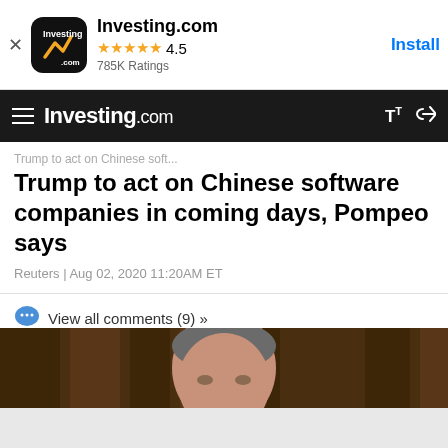Investing.com  ★★★★★ 4.5  785K Ratings  Install
Investing.com
Trump to act on Chinese software companies in coming days, Pompeo says
Reuters | Aug 02, 2020 11:20AM ET
View all comments (9) »
[Figure (photo): Photo of Mike Pompeo, a heavyset man in a dark suit with grey hair, touching his temple with his right hand against a brown wood-paneled background.]